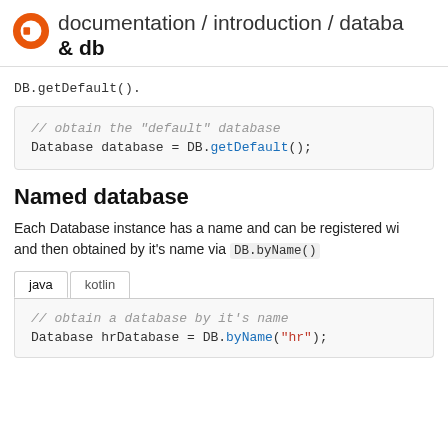documentation / introduction / databa & db
DB.getDefault().
// obtain the "default" database
Database database = DB.getDefault();
Named database
Each Database instance has a name and can be registered wi and then obtained by it's name via DB.byName()
// obtain a database by it's name
Database hrDatabase = DB.byName("hr");